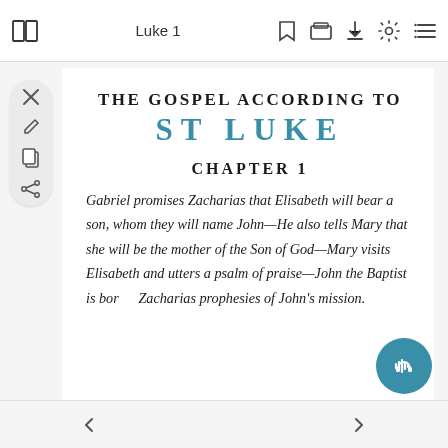Luke 1
THE GOSPEL ACCORDING TO
ST LUKE
CHAPTER 1
Gabriel promises Zacharias that Elisabeth will bear a son, whom they will name John—He also tells Mary that she will be the mother of the Son of God—Mary visits Elisabeth and utters a psalm of praise—John the Baptist is born—Zacharias prophesies of John's mission.